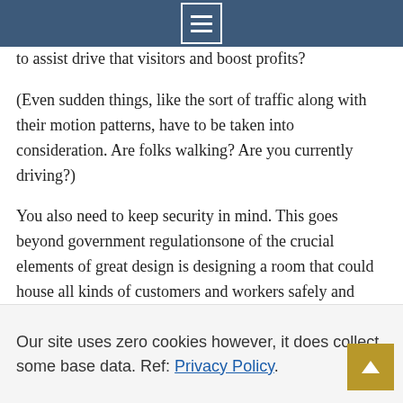Menu
to assist drive that visitors and boost profits?
(Even sudden things, like the sort of traffic along with their motion patterns, have to be taken into consideration. Are folks walking? Are you currently driving?)
You also need to keep security in mind. This goes beyond government regulationsone of the crucial elements of great design is designing a room that could house all kinds of customers and workers safely and safely.
Our site uses zero cookies however, it does collect some base data. Ref: Privacy Policy.